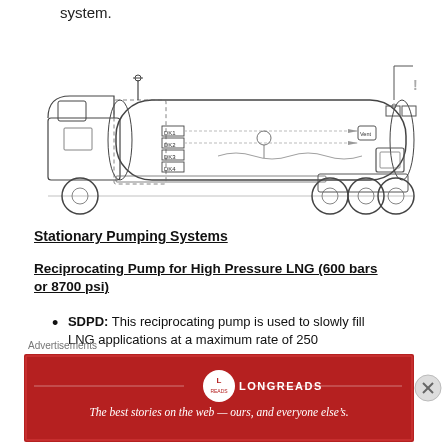system.
[Figure (engineering-diagram): Technical side-view schematic of an LNG tank truck showing the truck cab, cylindrical tank, piping system with valves, and wheels. Dashed lines indicate internal piping routes through the tank.]
Stationary Pumping Systems
Reciprocating Pump for High Pressure LNG (600 bars or 8700 psi)
SDPD: This reciprocating pump is used to slowly fill LNG applications at a maximum rate of 250
Advertisements
[Figure (illustration): Longreads advertisement banner: red background with Longreads logo and text 'The best stories on the web — ours, and everyone else's.']